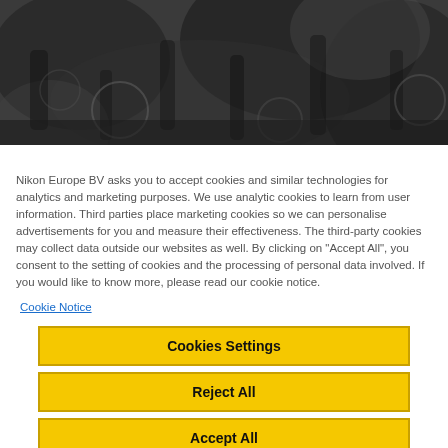[Figure (photo): Dark grayscale abstract image at top of page, showing blurred silhouettes and shapes — resembles a crowd or artistic photographic scene.]
Nikon Europe BV asks you to accept cookies and similar technologies for analytics and marketing purposes. We use analytic cookies to learn from user information. Third parties place marketing cookies so we can personalise advertisements for you and measure their effectiveness. The third-party cookies may collect data outside our websites as well. By clicking on "Accept All", you consent to the setting of cookies and the processing of personal data involved. If you would like to know more, please read our cookie notice.
Cookie Notice
Cookies Settings
Reject All
Accept All